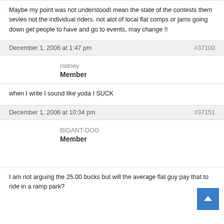Maybe my point was not understoodI mean the state of the contests them sevles not the individual riders. not alot of local flat comps or jams going down get people to have and go to events, may change !!
December 1, 2006 at 1:47 pm
#37100
rodney
Member
when I write I sound like yoda I SUCK
December 1, 2006 at 10:34 pm
#37151
BIGANT-DOG
Member
I am not arguing the 25.00 bucks but will the average flat guy pay that to ride in a ramp park?